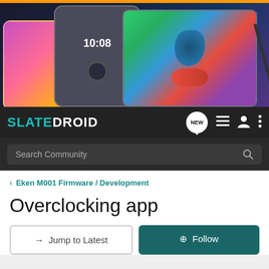[Figure (photo): Banner image showing smartphones and a tablet on a dark gradient background with an orange top bar. A pink/magenta phone on the left, a dark grey phone showing 10:08 time in the center, and a tablet with bird illustration on the right. A stylus pen visible on right edge.]
SLATEDROID
Search Community
Eken M001 Firmware / Development
Overclocking app
→  Jump to Latest
+ Follow
1 - 5 of 5 Posts
esunday · Registered
Joined May 17, 2010 · 87 Posts